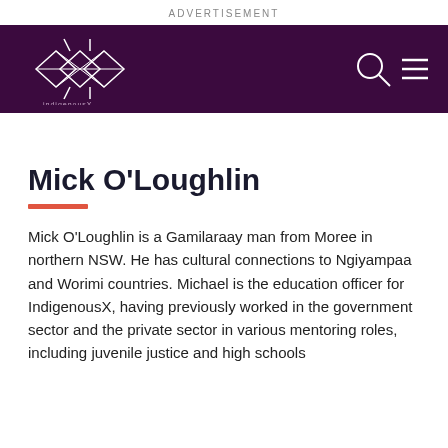ADVERTISEMENT
[Figure (logo): IndigenousX website header with decorative indigenous diamond/eye geometric logo in white on dark purple background, with search icon and hamburger menu icon on the right]
Mick O'Loughlin
Mick O'Loughlin is a Gamilaraay man from Moree in northern NSW. He has cultural connections to Ngiyampaa and Worimi countries. Michael is the education officer for IndigenousX, having previously worked in the government sector and the private sector in various mentoring roles, including juvenile justice and high schools